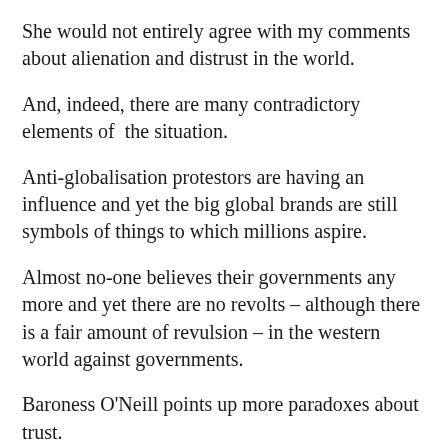She would not entirely agree with my comments about alienation and distrust in the world.
And, indeed, there are many contradictory elements of the situation.
Anti-globalisation protestors are having an influence and yet the big global brands are still symbols of things to which millions aspire.
Almost no-one believes their governments any more and yet there are no revolts – although there is a fair amount of revulsion – in the western world against governments.
Baroness O'Neill points up more paradoxes about trust.
For instance, she points out that lack of trust is also about our society's growing risk aversion – our pointless attempts to be guaranteed safety in all circumstances.